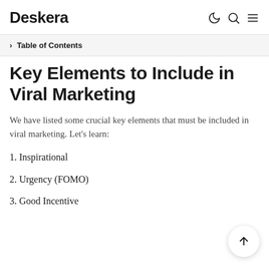Deskera
> Table of Contents
Key Elements to Include in Viral Marketing
We have listed some crucial key elements that must be included in viral marketing. Let's learn:
1. Inspirational
2. Urgency (FOMO)
3. Good Incentive